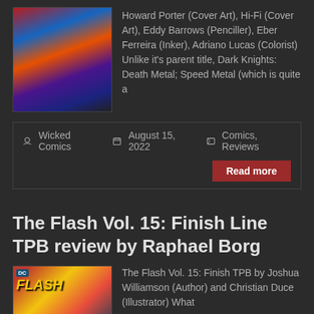[Figure (illustration): Comic book cover art showing superhero figures in dynamic action against a colorful background with reds, blues, and oranges]
Howard Porter (Cover Art), Hi-Fi (Cover Art), Eddy Barrows (Penciller), Eber Ferreira (Inker), Adriano Lucas (Colorist) Unlike it's parent title, Dark Knights: Death Metal; Speed Metal (which is quite a
Wicked Comics   August 15, 2022   Comics, Reviews
Read more
The Flash Vol. 15: Finish Line TPB review by Raphael Borg
[Figure (illustration): The Flash Vol. 15 Finish Line TPB comic book cover showing the Flash logo in yellow on a red background with DC badge]
The Flash Vol. 15: Finish TPB by Joshua Williamson (Author) and Christian Duce (Illustrator) What